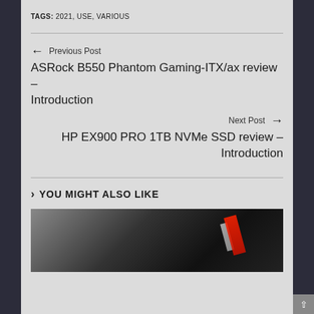TAGS: 2021, USE, VARIOUS
← Previous Post
ASRock B550 Phantom Gaming-ITX/ax review – Introduction
Next Post →
HP EX900 PRO 1TB NVMe SSD review – Introduction
YOU MIGHT ALSO LIKE
[Figure (photo): Partial photo of a gaming hardware component with red and black elements, appears to be a GPU or motherboard]